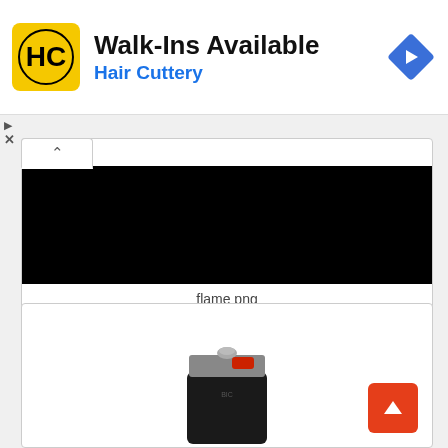[Figure (infographic): Hair Cuttery advertisement banner with yellow HC logo, 'Walk-Ins Available' headline, 'Hair Cuttery' subtext in blue, and a blue diamond navigation icon on the right]
Walk-Ins Available
Hair Cuttery
[Figure (photo): Black rectangle image placeholder with 'flame png' caption below]
flame png
[Figure (photo): Photo of a black BIC lighter with red ignition button, top portion visible at bottom of second card]